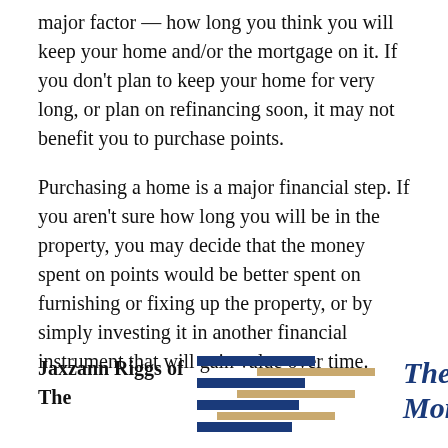major factor — how long you think you will keep your home and/or the mortgage on it. If you don't plan to keep your home for very long, or plan on refinancing soon, it may not benefit you to purchase points.
Purchasing a home is a major financial step. If you aren't sure how long you will be in the property, you may decide that the money spent on points would be better spent on furnishing or fixing up the property, or by simply investing it in another financial instrument that will gain value over time.
Jaxzann Riggs of The
[Figure (logo): The Mortgage logo with horizontal bars in navy blue and tan/gold colors arranged in a stacked pattern]